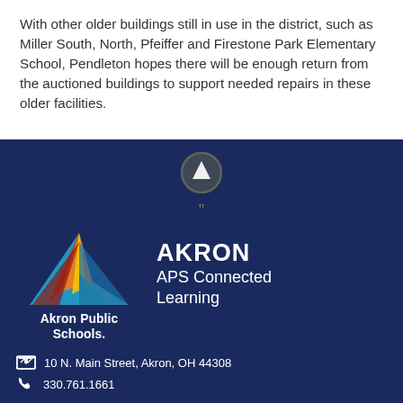With other older buildings still in use in the district, such as Miller South, North, Pfeiffer and Firestone Park Elementary School, Pendleton hopes there will be enough return from the auctioned buildings to support needed repairs in these older facilities.
[Figure (logo): Akron Public Schools logo with colorful triangle and 'AKRON APS Connected Learning' text]
10 N. Main Street, Akron, OH 44308
330.761.1661